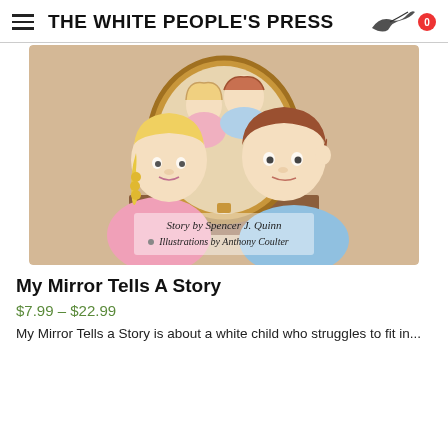THE WHITE PEOPLE'S PRESS
[Figure (illustration): Book cover illustration showing two cartoon children facing each other in front of a mirror. A girl with blonde braids in a pink outfit on the left and a boy with brown hair in a blue outfit on the right. Their reflections are visible in an ornate oval mirror in the background. Text on the cover reads: Story by Spencer J. Quinn, Illustrations by Anthony Coulter]
My Mirror Tells A Story
$7.99 – $22.99
My Mirror Tells a Story is about a white child who struggles to fit in...